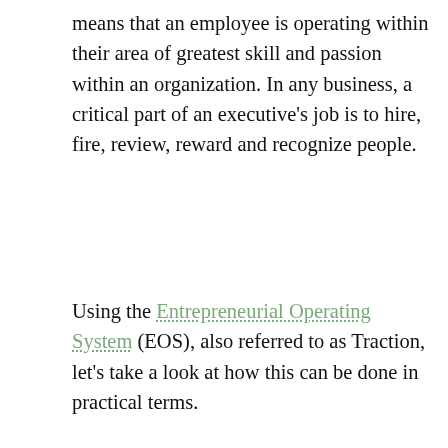means that an employee is operating within their area of greatest skill and passion within an organization. In any business, a critical part of an executive's job is to hire, fire, review, reward and recognize people.
Using the Entrepreneurial Operating System (EOS), also referred to as Traction, let's take a look at how this can be done in practical terms.
The right people
[Figure (screenshot): Partial screenshot of a webpage or book cover showing 'Bank Building Owners' in bold underlined text on a light blue background, with a 'Cookie Policy' badge overlay and a grey scroll-to-top button.]